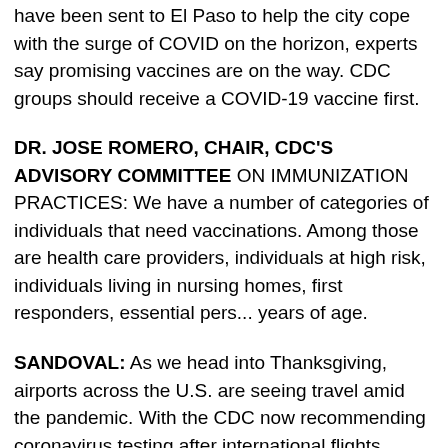have been sent to El Paso to help the city cope with the surge of COVID on the horizon, experts say promising vaccines are on the way. CDC groups should receive a COVID-19 vaccine first.
DR. JOSE ROMERO, CHAIR, CDC'S ADVISORY COMMITTEE ON IMMUNIZATION PRACTICES: We have a number of categories of individuals that need to be first for vaccinations. Among those are health care providers, individuals at high risk, individuals living in nursing homes, first responders, essential personnel, and those 65 years of age.
SANDOVAL: As we head into Thanksgiving, airports across the U.S. are seeing travel amid the pandemic. With the CDC now recommending coronavirus testing after international flights.
(END VIDEOTAPE)
SANDOVAL (on camera): We should mention Regeneron is not th